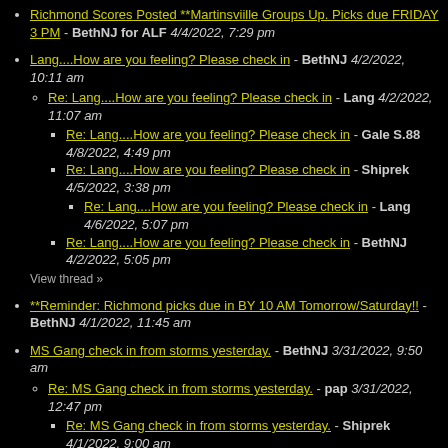Richmond Scores Posted **Martinsviille Groups Up. Picks due FRIDAY 3 PM - BethNJ for ALF 4/4/2022, 7:29 pm
Lang....How are you feeling? Please check in - BethNJ 4/2/2022, 10:11 am
Re: Lang....How are you feeling? Please check in - Lang 4/2/2022, 11:07 am
Re: Lang....How are you feeling? Please check in - Gale S.88 4/8/2022, 4:49 pm
Re: Lang....How are you feeling? Please check in - Shiprek 4/5/2022, 3:38 pm
Re: Lang....How are you feeling? Please check in - Lang 4/6/2022, 5:07 pm
Re: Lang....How are you feeling? Please check in - BethNJ 4/2/2022, 5:05 pm
**Reminder: Richmond picks due in BY 10 AM Tomorrow/Saturday!! - BethNJ 4/1/2022, 11:45 am
MS Gang check in from storms yesterday. - BethNJ 3/31/2022, 9:50 am
Re: MS Gang check in from storms yesterday. - pap 3/31/2022, 12:47 pm
Re: MS Gang check in from storms yesterday. - Shiprek 4/1/2022, 9:00 am
Re: MS Gang check in from storms yesterday. - BethNJ 3/31/2022,